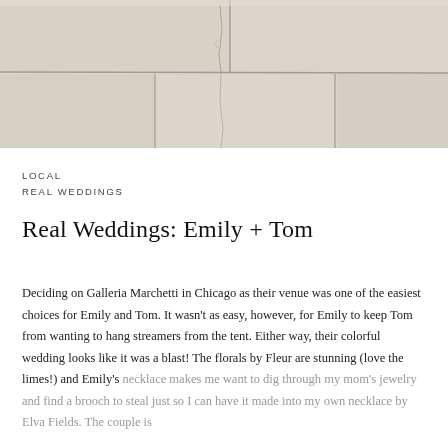[Figure (photo): Close-up photograph of pale stone or concrete tiles/blocks with visible grout lines and subtle cracks running through the surface. Light beige/cream tones.]
LOCAL
REAL WEDDINGS
Real Weddings: Emily + Tom
Deciding on Galleria Marchetti in Chicago as their venue was one of the easiest choices for Emily and Tom. It wasn't as easy, however, for Emily to keep Tom from wanting to hang streamers from the tent. Either way, their colorful wedding looks like it was a blast! The florals by Fleur are stunning (love the limes!) and Emily's necklace makes me want to dig through my mom's jewelry and find a brooch to steal just so I can have it made into my own necklace by Elva Fields. The couple is